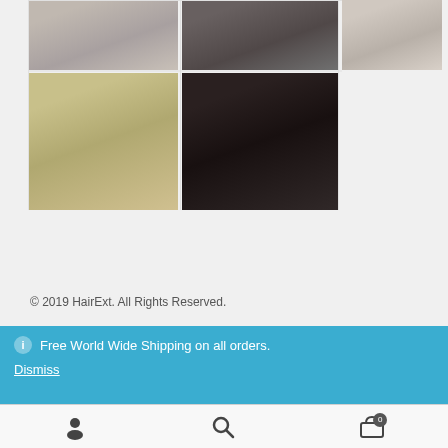[Figure (photo): Grid of 5 photos showing women with different hairstyles: top row has 3 photos (woman tossing long brown hair, woman with curly dark hair in grey top, woman with straight dark hair in white vest); bottom row has 2 photos (woman with long blonde wavy hair, woman with long dark wavy hair in magenta top)]
© 2019 HairExt. All Rights Reserved.
Free World Wide Shipping on all orders.
Dismiss